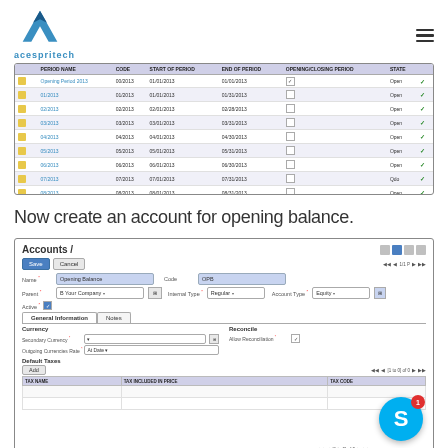acespritech
[Figure (screenshot): Fiscal periods table screenshot showing period names, codes, start/end dates, opening/closing period checkboxes, and state (Open/Qdo) with green checkmarks. Rows: Opening Period 2013 (00/2013, 01/01/2013, 01/31/2013), 01/2013 (01/2013, 01/01/2013, 01/31/2013), 02/2013, 03/2013, 04/2013, 05/2013, 06/2013, 07/2013, 08/2013, 09/2013 all Open.]
Now create an account for opening balance.
[Figure (screenshot): Accounts form screenshot in an ERP system. Shows an account named 'Opening Balance' with code '0PB', parent 'B Your Company', Internal Type 'Regular', Account Type 'Equity'. General Information tab is active with Currency and Reconcile sections. Secondary Currency and Outgoing Currencies Rate fields visible. Default Taxes section with Add button and table headers: TAX NAME, TAX INCLUDED IN PRICE, TAX CODE. Two empty rows. Navigation shows [1 to 0] of 0. Skype icon with notification badge (1) visible at bottom right.]